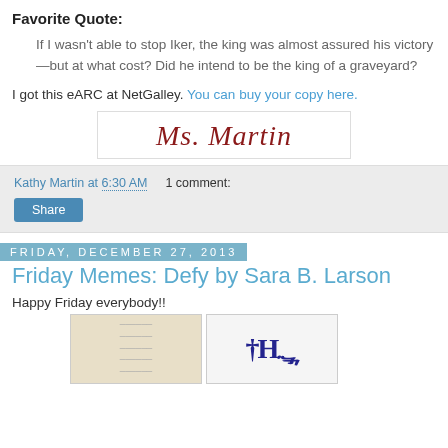Favorite Quote:
If I wasn't able to stop Iker, the king was almost assured his victory—but at what cost? Did he intend to be the king of a graveyard?
I got this eARC at NetGalley. You can buy your copy here.
[Figure (illustration): Cursive signature reading 'Ms. Martin' in dark red on white background with border]
Kathy Martin at 6:30 AM   1 comment:
Share
Friday, December 27, 2013
Friday Memes: Defy by Sara B. Larson
Happy Friday everybody!!
[Figure (photo): Two images side by side: left shows a paper/letter image, right shows 'THE' text in blue stamp style]